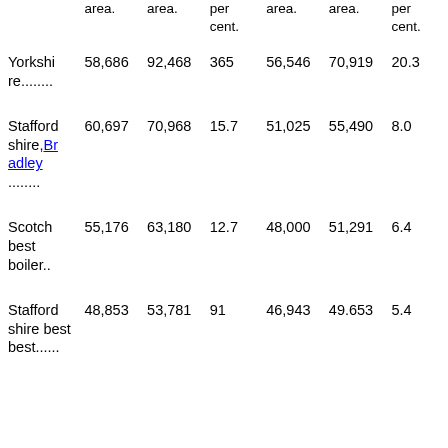|  | area. | area. | per cent. | area. | area. | per cent. |
| --- | --- | --- | --- | --- | --- | --- |
| Yorkshire........ | 58,686 | 92,468 | 365 | 56,546 | 70,919 | 20.3 |
| Staffordshire,Bradley ........ | 60,697 | 70,968 | 15.7 | 51,025 | 55,490 | 8.0 |
| Scotch best boiler.. | 55,176 | 63,180 | 12.7 | 48,000 | 51,291 | 6.4 |
| Staffordshire best best...... | 48,853 | 53,781 | 91 | 46,943 | 49.653 | 5.4 |